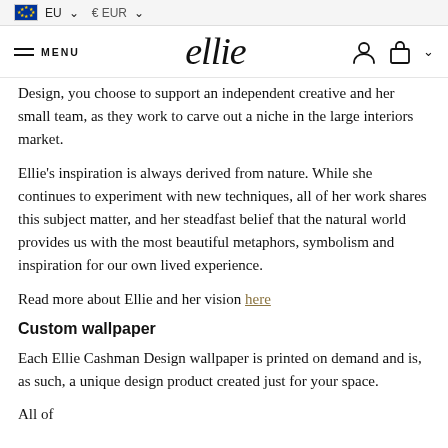EU  € EUR
≡ MENU  ellie
Design, you choose to support an independent creative and her small team, as they work to carve out a niche in the large interiors market.
Ellie's inspiration is always derived from nature. While she continues to experiment with new techniques, all of her work shares this subject matter, and her steadfast belief that the natural world provides us with the most beautiful metaphors, symbolism and inspiration for our own lived experience.
Read more about Ellie and her vision here
Custom wallpaper
Each Ellie Cashman Design wallpaper is printed on demand and is, as such, a unique design product created just for your space.
All of...